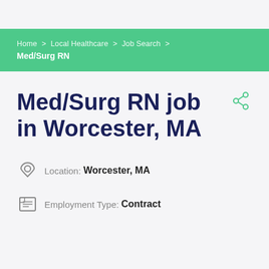Home > Local Healthcare > Job Search > Med/Surg RN
Med/Surg RN job in Worcester, MA
Location: Worcester, MA
Employment Type: Contract